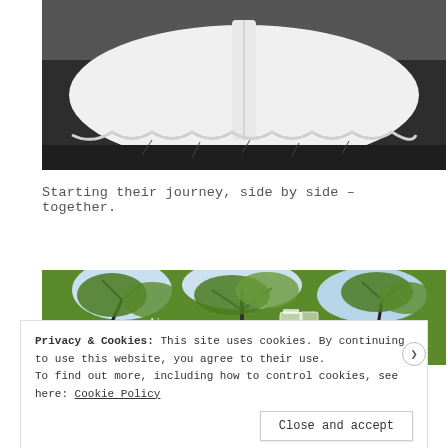[Figure (photo): Black and white photograph showing the bottom of a white wedding dress spread out on grass]
Starting their journey, side by side – together.
[Figure (photo): Color photograph showing green tree canopy with a partially visible watermark/logo text]
Privacy & Cookies: This site uses cookies. By continuing to use this website, you agree to their use.
To find out more, including how to control cookies, see here: Cookie Policy
Close and accept